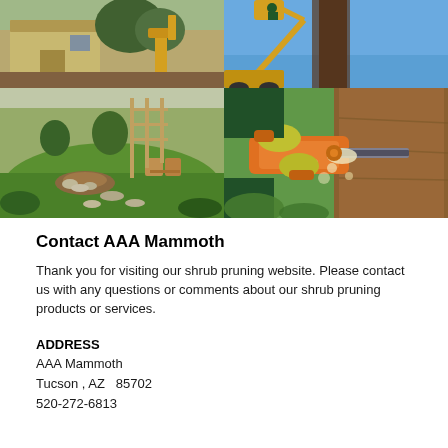[Figure (photo): Four-panel photo grid: top-left shows a tan shed with construction equipment, top-right shows tree trimming with a cherry picker against blue sky, bottom-left shows a landscaped garden with green lawn and wooden trellis, bottom-right shows a person in gloves using an orange chainsaw to cut a large tree trunk.]
Contact AAA Mammoth
Thank you for visiting our shrub pruning website. Please contact us with any questions or comments about our shrub pruning products or services.
ADDRESS
AAA Mammoth
Tucson ,  AZ   85702
520-272-6813